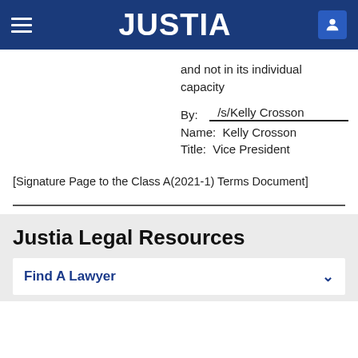JUSTIA
and not in its individual capacity
By:  /s/Kelly Crosson
Name:  Kelly Crosson
Title:  Vice President
[Signature Page to the Class A(2021-1) Terms Document]
Justia Legal Resources
Find A Lawyer